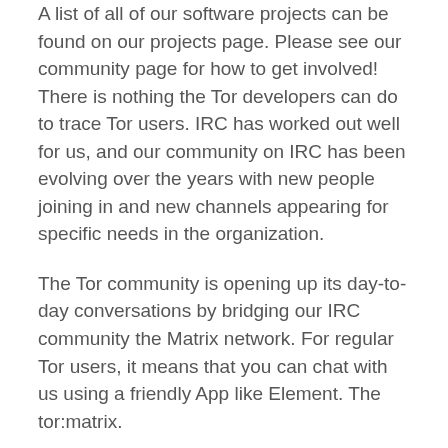A list of all of our software projects can be found on our projects page. Please see our community page for how to get involved! There is nothing the Tor developers can do to trace Tor users. IRC has worked out well for us, and our community on IRC has been evolving over the years with new people joining in and new channels appearing for specific needs in the organization.
The Tor community is opening up its day-to-day conversations by bridging our IRC community the Matrix network. For regular Tor users, it means that you can chat with us using a friendly App like Element. The tor:matrix.
To join the conversation with Tor contributors on Matrix, you need a Matrix account. Several providers can get you one. One of these is the Matrix. You can register an account on app. Once you have a Matrix account, you can either join the Tor Matrix Space to browse the Tor rooms, or directly join the tor:matrix. If your nick is already being used